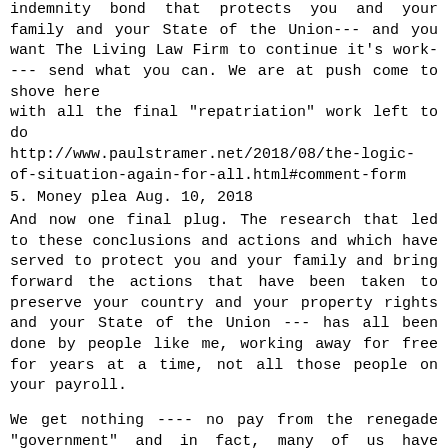indemnity bond that protects you and your family and your State of the Union--- and you want The Living Law Firm to continue it's work---- send what you can. We are at push come to shove here
with all the final "repatriation" work left to do
http://www.paulstramer.net/2018/08/the-logic-of-situation-again-for-all.html#comment-form
5. Money plea Aug. 10, 2018
And now one final plug. The research that led to these conclusions and actions and which have served to protect you and your family and bring forward the actions that have been taken to preserve your country and your property rights and your State of the Union --- has all been done by people like me, working away for free for years at a time, not all those people on your payroll.
We get nothing ---- no pay from the renegade "government" and in fact, many of us have suffered and died and been attacked by these criminals and prosecuted under deliberately constructed false legal presumptions. Many of us have spent time in jail --- not for our "political beliefs" --- but because we had the temerity to assert our birthright and